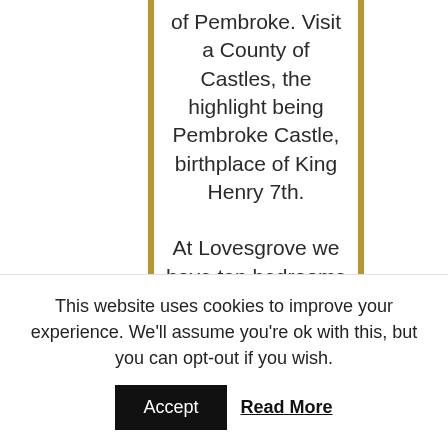of Pembroke. Visit a County of Castles, the highlight being Pembroke Castle, birthplace of King Henry 7th.
At Lovesgrove we have ten bedrooms consisting of double, twin and family rooms. All have en suite facilities. Accommodation for people with disabilities is also provided including a wet room shower. Each room has remote control colour television with
This website uses cookies to improve your experience. We'll assume you're ok with this, but you can opt-out if you wish.